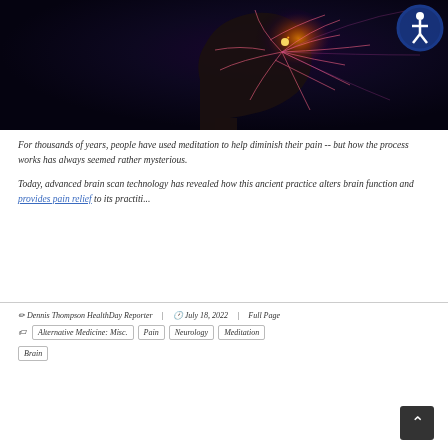[Figure (photo): Silhouette of a human head in profile with a glowing brain illustration showing neural activity with orange/pink light emanations, on a dark background. An accessibility icon (person in circle) is in the top right corner.]
For thousands of years, people have used meditation to help diminish their pain -- but how the process works has always seemed rather mysterious.
Today, advanced brain scan technology has revealed how this ancient practice alters brain function and provides pain relief to its practiti...
Dennis Thompson HealthDay Reporter | July 18, 2022 | Full Page
Alternative Medicine: Misc. | Pain | Neurology | Meditation
Brain